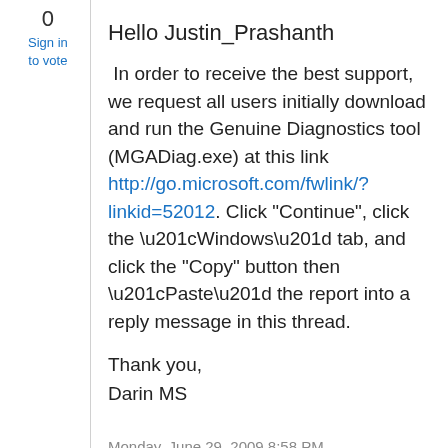0
Sign in to vote
Hello Justin_Prashanth
In order to receive the best support, we request all users initially download and run the Genuine Diagnostics tool (MGADiag.exe) at this link http://go.microsoft.com/fwlink/?linkid=52012. Click "Continue", click the “Windows” tab, and click the "Copy" button then “Paste” the report into a reply message in this thread.
Thank you,
Darin MS
Monday, June 29, 2009 8:58 PM